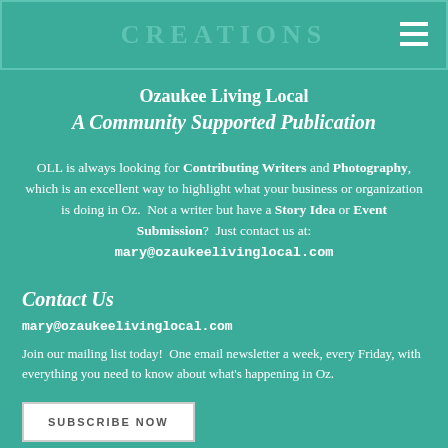CREATIONS
Ozaukee Living Local
A Community Supported Publication
OLL is always looking for Contributing Writers and Photography, which is an excellent way to highlight what your business or organization is doing in Oz.  Not a writer but have a Story Idea or Event Submission?  Just contact us at: mary@ozaukeelivinglocal.com
Contact Us
mary@ozaukeelivinglocal.com
Join our mailing list today!  One email newsletter a week, every Friday, with everything you need to know about what's happening in Oz.
SUBSCRIBE NOW